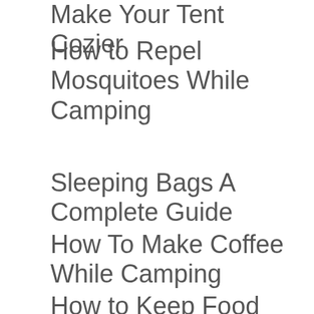5 Forgotten Ways To Make Your Tent Cozier
How to Repel Mosquitoes While Camping
Sleeping Bags A Complete Guide
How To Make Coffee While Camping
How to Keep Food Cold